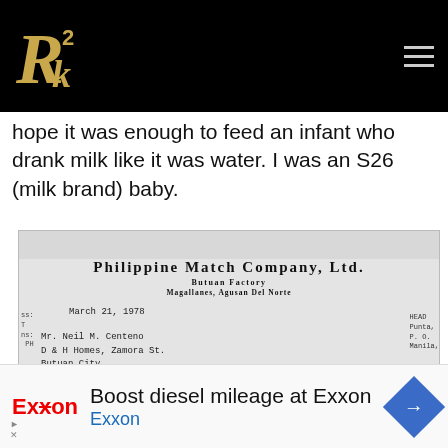R2k (logo) — website header with hamburger menu
hope it was enough to feed an infant who drank milk like it was water. I was an S26 (milk brand) baby.
[Figure (photo): Scanned letterhead from Philippine Match Company, Ltd., Butuan Factory, Magallanes, Agusan Del Norte. Dated March 21, 1978. Addressed to Mr. Neil M. Centeno, D & H Homes, Zamora St., Butuan City. Begins with 'Dear Mr. Centeno:'. Head office address partially visible on right side: Punta, P.O., Manila.]
[Figure (screenshot): Exxon advertisement banner: 'Boost diesel mileage at Exxon' with Exxon logo in red and blue navigation arrow icon on right.]